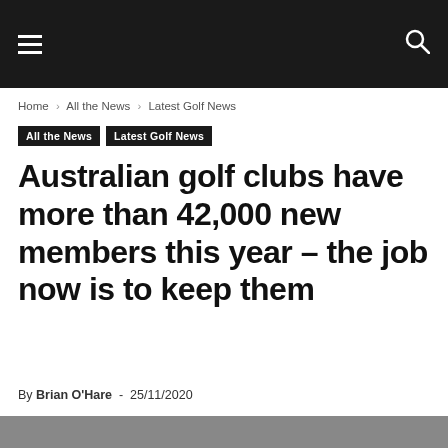≡  🔍
Home › All the News › Latest Golf News
All the News   Latest Golf News
Australian golf clubs have more than 42,000 new members this year – the job now is to keep them
By Brian O'Hare - 25/11/2020
[Figure (photo): Partial image visible at bottom of page]